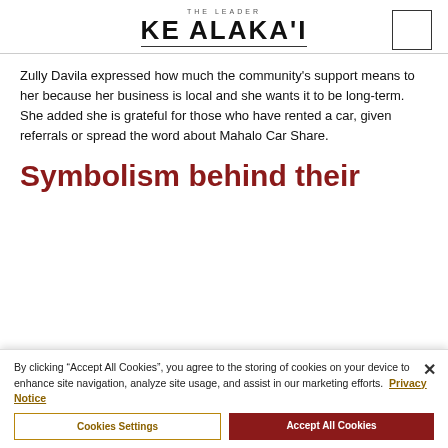THE LEADER KE ALAKA'I
Zully Davila expressed how much the community's support means to her because her business is local and she wants it to be long-term. She added she is grateful for those who have rented a car, given referrals or spread the word about Mahalo Car Share.
Symbolism behind their
By clicking “Accept All Cookies”, you agree to the storing of cookies on your device to enhance site navigation, analyze site usage, and assist in our marketing efforts. Privacy Notice
Cookies Settings | Accept All Cookies